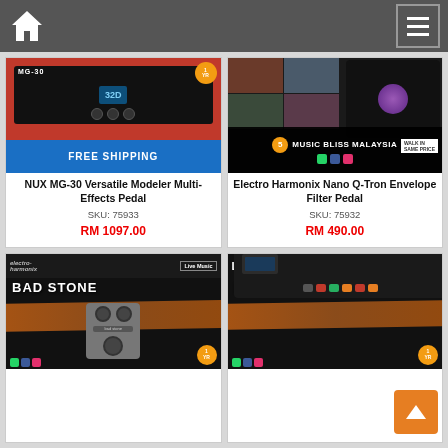Navigation bar with home icon and menu
[Figure (photo): NUX MG-30 Multi-Effects Pedal product image with FREE SHIPPING banner]
NUX MG-30 Versatile Modeler Multi-Effects Pedal
SKU: 75933
RM 1097.00
[Figure (photo): Electro Harmonix Nano Q-Tron Envelope Filter Pedal product image with Music Bliss Malaysia branding]
Electro Harmonix Nano Q-Tron Envelope Filter Pedal
SKU: 75932
RM 490.00
[Figure (photo): Electro Harmonix Bad Stone phase shifter pedal product image]
[Figure (photo): Line 6 POD GO multi-effects processor product image]